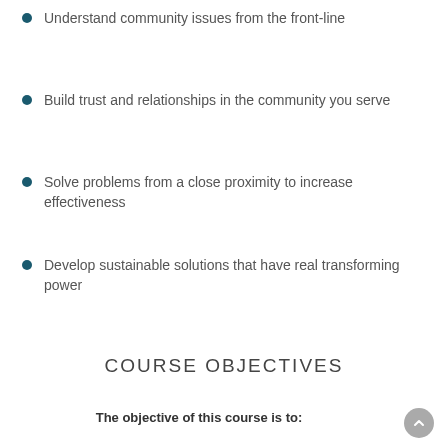Understand community issues from the front-line
Build trust and relationships in the community you serve
Solve problems from a close proximity to increase effectiveness
Develop sustainable solutions that have real transforming power
COURSE OBJECTIVES
The objective of this course is to: